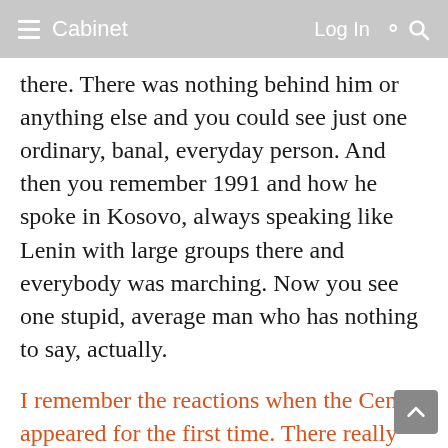≡ Cabinet   Log In 🔍
there. There was nothing behind him or anything else and you could see just one ordinary, banal, everyday person. And then you remember 1991 and how he spoke in Kosovo, always speaking like Lenin with large groups there and everybody was marching. Now you see one stupid, average man who has nothing to say, actually.
I remember the reactions when the Center appeared for the first time. There really was not much left of the public institutions that were formerly centers of public interest, and this new center was both welcome and also suspicious to many. The reaction was "Yes, we